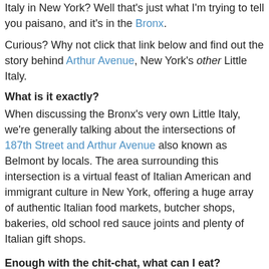Italy in New York? Well that's just what I'm trying to tell you paisano, and it's in the Bronx.
Curious? Why not click that link below and find out the story behind Arthur Avenue, New York's other Little Italy.
What is it exactly?
When discussing the Bronx's very own Little Italy, we're generally talking about the intersections of 187th Street and Arthur Avenue also known as Belmont by locals. The area surrounding this intersection is a virtual feast of Italian American and immigrant culture in New York, offering a huge array of authentic Italian food markets, butcher shops, bakeries, old school red sauce joints and plenty of Italian gift shops.
Enough with the chit-chat, what can I eat?
If you like Italian food, welcome to paradise. Ground zero is probably the Arthur Avenue Retail Market, a one-stop Italian bazaar full of all kinds of hand-made Italian foodstuffs like sausages, olives and freshly made pasta. Once you've worked